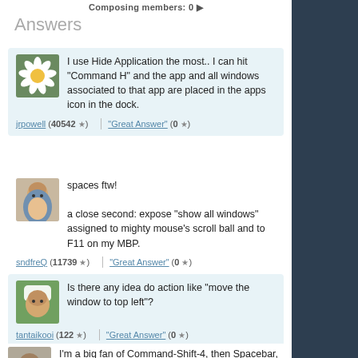Composing members: 0
Answers
I use Hide Application the most.. I can hit “Command H” and the app and all windows associated to that app are placed in the apps icon in the dock.
jrpowell (40542 ★) — “Great Answer” (0 ★)
spaces ftw!

a close second: expose “show all windows” assigned to mighty mouse’s scroll ball and to F11 on my MBP.
sndfreQ (11739 ★) — “Great Answer” (0 ★)
Is there any idea do action like “move the window to top left”?
tantaikooi (122 ★) — “Great Answer” (0 ★)
I’m a big fan of Command-Shift-4, then Spacebar, then click, to take a